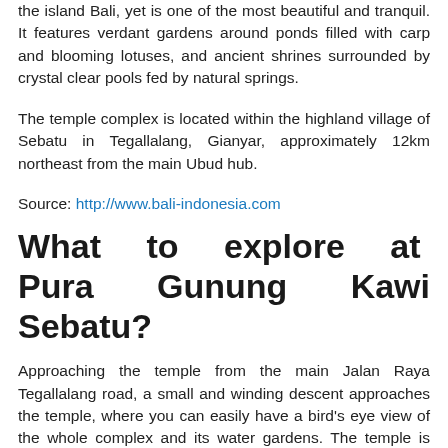the island Bali, yet is one of the most beautiful and tranquil. It features verdant gardens around ponds filled with carp and blooming lotuses, and ancient shrines surrounded by crystal clear pools fed by natural springs.
The temple complex is located within the highland village of Sebatu in Tegallalang, Gianyar, approximately 12km northeast from the main Ubud hub.
Source: http://www.bali-indonesia.com
What to explore at Pura Gunung Kawi Sebatu?
Approaching the temple from the main Jalan Raya Tegallalang road, a small and winding descent approaches the temple, where you can easily have a bird's eye view of the whole complex and its water gardens. The temple is a worthy stopover, profuse with water features, and one of the main highlights is the tranquil setting of one of its singular shrines